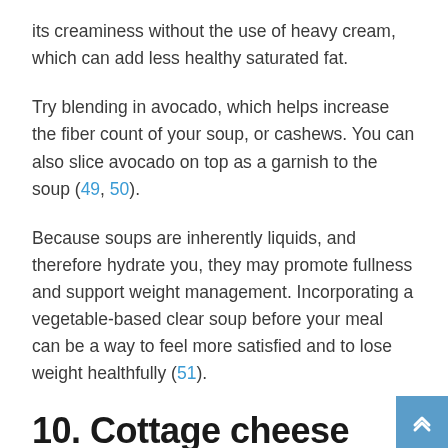its creaminess without the use of heavy cream, which can add less healthy saturated fat.
Try blending in avocado, which helps increase the fiber count of your soup, or cashews. You can also slice avocado on top as a garnish to the soup (49, 50).
Because soups are inherently liquids, and therefore hydrate you, they may promote fullness and support weight management. Incorporating a vegetable-based clear soup before your meal can be a way to feel more satisfied and to lose weight healthfully (51).
10. Cottage cheese
Dairy products tend to be high in protein.